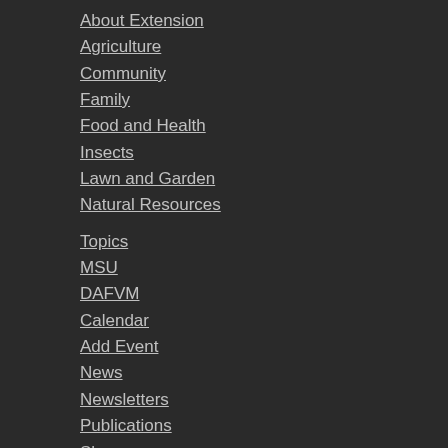About Extension
Agriculture
Community
Family
Food and Health
Insects
Lawn and Garden
Natural Resources
Topics
MSU
DAFVM
Calendar
Add Event
News
Newsletters
Publications
Shows
County Offices
Extension Units
Distance Education
Staff Directory
Mississippi State University is an equal opportunity institution. Discrimination in university employment, programs, or activities based on race, color, ethnicity, sex, pregnancy, religion